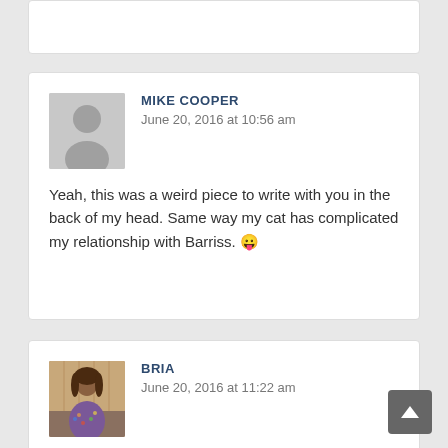(partial comment box at top, content cut off)
MIKE COOPER
June 20, 2016 at 10:56 am

Yeah, this was a weird piece to write with you in the back of my head. Same way my cat has complicated my relationship with Barriss. 😛
BRIA
June 20, 2016 at 11:22 am

Rereading the trilogy for the Waru a few years ago was one of the weirdest experiences for, you know, obvious